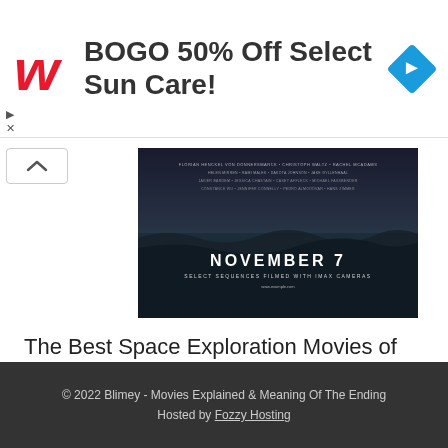[Figure (screenshot): Walgreens advertisement banner: BOGO 50% Off Select Sun Care! with red Walgreens W logo and blue diamond navigation icon]
[Figure (photo): Movie poster showing dark ocean waves with text NOVEMBER 7 and IMAX cameras, with cast credits listed at top]
The Best Space Exploration Movies of All Time
Starting to write this collection, we decided to take a look at the existing
© 2022 Blimey - Movies Explained & Meaning Of The Ending
Hosted by Fozzy Hosting